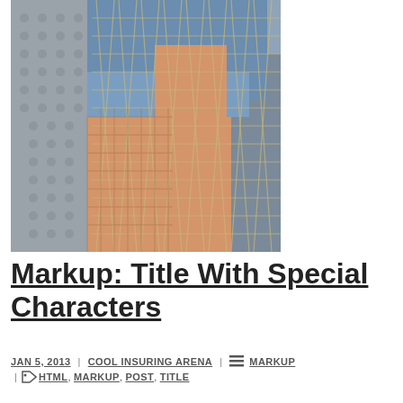[Figure (photo): Close-up photo of a person in denim shorts leaning against a chain-link fence, showing legs with fishnet shadow pattern and a hand with rings.]
Markup: Title With Special Characters
JAN 5, 2013 | COOL INSURING ARENA | MARKUP | HTML, MARKUP, POST, TITLE